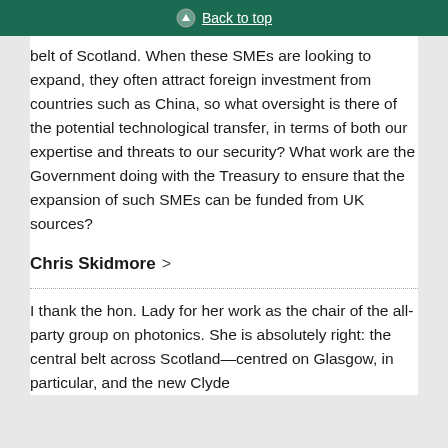Back to top
belt of Scotland. When these SMEs are looking to expand, they often attract foreign investment from countries such as China, so what oversight is there of the potential technological transfer, in terms of both our expertise and threats to our security? What work are the Government doing with the Treasury to ensure that the expansion of such SMEs can be funded from UK sources?
Chris Skidmore >
I thank the hon. Lady for her work as the chair of the all-party group on photonics. She is absolutely right: the central belt across Scotland—centred on Glasgow, in particular, and the new Clyde